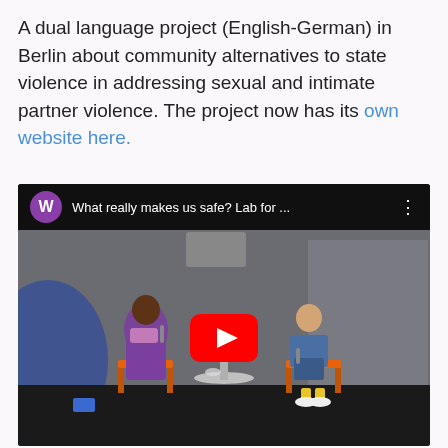A dual language project (English-German) in Berlin about community alternatives to state violence in addressing sexual and intimate partner violence. The project now has its own website here.
[Figure (screenshot): YouTube video thumbnail showing two people seated on orange chairs on a dark stage, one holding a microphone, the title bar reads 'What really makes us safe? Lab for ...' with a YouTube play button overlay in the center]